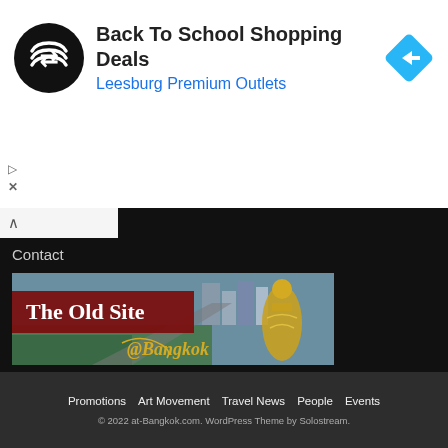[Figure (infographic): Advertisement banner: circular black logo with double arrow symbol, text 'Back To School Shopping Deals' in bold, 'Leesburg Premium Outlets' in blue, and a blue diamond navigation icon on the right]
Contact
[Figure (photo): The Old Site banner for at-Bangkok.com: aerial city view with golden Buddha statue and '@Bangkok' text overlay on dark red and cityscape background]
Promotions  Art Movement  Travel News  People  Events
© 2022 at-Bangkok.com. WordPress Theme by Solostream.